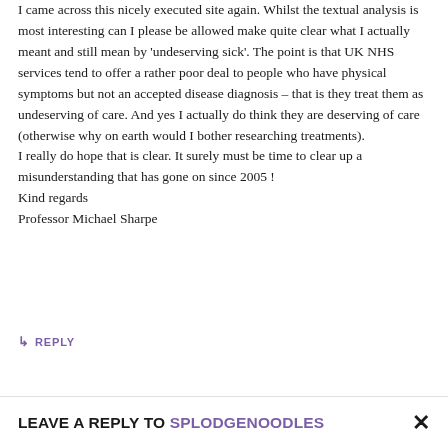I came across this nicely executed site again. Whilst the textual analysis is most interesting can I please be allowed make quite clear what I actually meant and still mean by 'undeserving sick'. The point is that UK NHS services tend to offer a rather poor deal to people who have physical symptoms but not an accepted disease diagnosis – that is they treat them as undeserving of care. And yes I actually do think they are deserving of care (otherwise why on earth would I bother researching treatments).
I really do hope that is clear. It surely must be time to clear up a misunderstanding that has gone on since 2005 !
Kind regards
Professor Michael Sharpe
↳ REPLY
LEAVE A REPLY TO SPLODGENOODLES ×